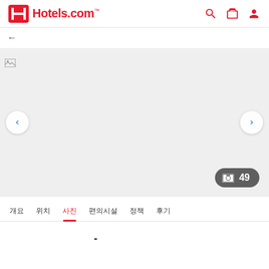Hotels.com
← ������
[Figure (screenshot): Hotel image gallery area with broken image placeholder, left/right navigation arrows, and a photo count badge showing 49]
사진 49
개요 위치 사진 편의시설 정책 후기
������������ - ������������